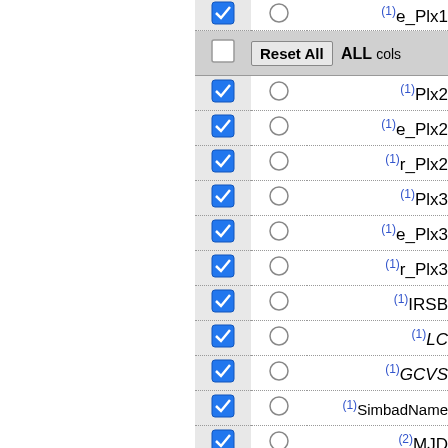| checked | radio | name |
| --- | --- | --- |
| ✓ | ○ | (1) e_Plx1 |
| ALL cols [Reset All] |  |  |
| ✓ | ○ | (1) Plx2 |
| ✓ | ○ | (1) e_Plx2 |
| ✓ | ○ | (1) r_Plx2 |
| ✓ | ○ | (1) Plx3 |
| ✓ | ○ | (1) e_Plx3 |
| ✓ | ○ | (1) r_Plx3 |
| ✓ | ○ | (1) IRSB |
| ✓ | ○ | (1) LC |
| ✓ | ○ | (1) GCVS |
| ✓ | ○ | (1) SimbadName |
| ✓ | ○ | (2) MJD |
| ✓ | ○ | (2) [3.6] |
| ✓ | ○ | (2) e_[3.6] |